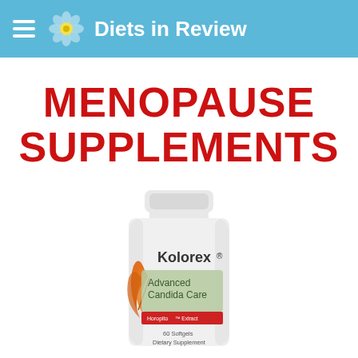Diets in Review
MENOPAUSE SUPPLEMENTS
[Figure (photo): White plastic supplement bottle labeled Kolorex Advanced Candida Care with an orange leaf/flower design, showing a red band near the bottom reading 'HoropitoPinnatoForte Extract', 60 Softgels, Dietary Supplement]